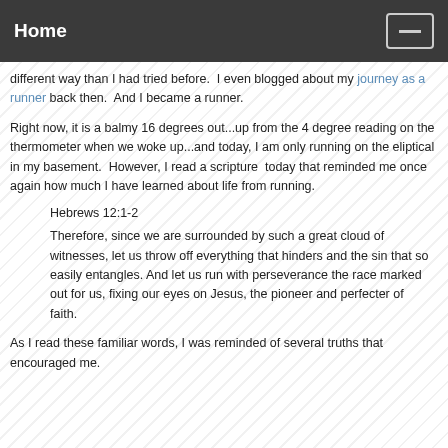Home
different way than I had tried before.  I even blogged about my journey as a runner back then.  And I became a runner.
Right now, it is a balmy 16 degrees out...up from the 4 degree reading on the thermometer when we woke up...and today, I am only running on the eliptical in my basement.  However, I read a scripture  today that reminded me once again how much I have learned about life from running.
Hebrews 12:1-2
Therefore, since we are surrounded by such a great cloud of witnesses, let us throw off everything that hinders and the sin that so easily entangles. And let us run with perseverance the race marked out for us, fixing our eyes on Jesus, the pioneer and perfecter of faith.
As I read these familiar words, I was reminded of several truths that encouraged me.